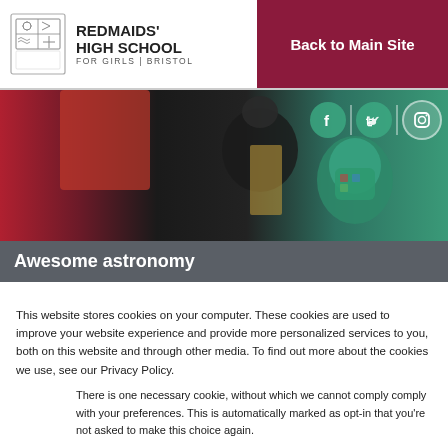[Figure (logo): Redmaids' High School for Girls Bristol crest and logo]
Back to Main Site
[Figure (photo): Hero photo of people in academic gowns with social media icons (Facebook, Twitter, Instagram) overlaid]
Awesome astronomy
This website stores cookies on your computer. These cookies are used to improve your website experience and provide more personalized services to you, both on this website and through other media. To find out more about the cookies we use, see our Privacy Policy.
There is one necessary cookie, without which we cannot comply comply with your preferences. This is automatically marked as opt-in that you're not asked to make this choice again.
Choose which cookies
Accept all cookies
Decline